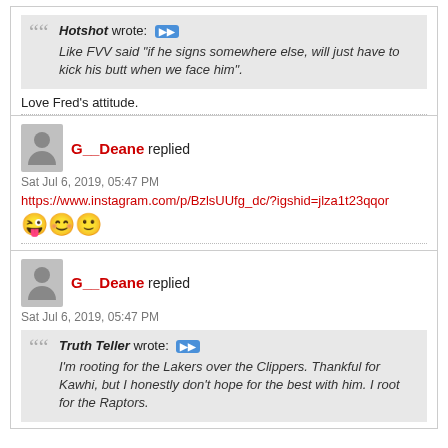Hotshot wrote: [quote] Like FVV said "if he signs somewhere else, will just have to kick his butt when we face him".
Love Fred's attitude.
G__Deane replied
Sat Jul 6, 2019, 05:47 PM
https://www.instagram.com/p/BzlsUUfg_dc/?igshid=jlza1t23qqor
😜😊🙂
G__Deane replied
Sat Jul 6, 2019, 05:47 PM
Truth Teller wrote: [quote] I'm rooting for the Lakers over the Clippers. Thankful for Kawhi, but I honestly don't hope for the best with him. I root for the Raptors.